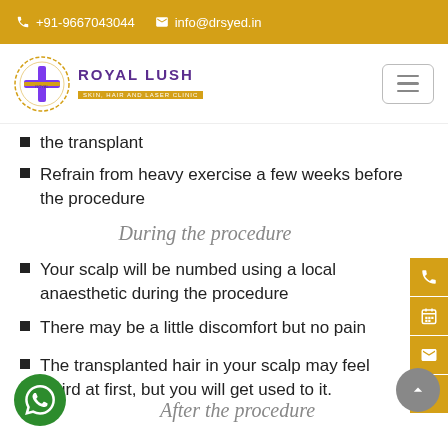+91-9667043044   info@drsyed.in
[Figure (logo): Royal Lush Skin Hair and Laser Clinic logo with purple cross and golden circle, and hamburger menu button]
the transplant
Refrain from heavy exercise a few weeks before the procedure
During the procedure
Your scalp will be numbed using a local anaesthetic during the procedure
There may be a little discomfort but no pain
The transplanted hair in your scalp may feel weird at first, but you will get used to it.
After the procedure